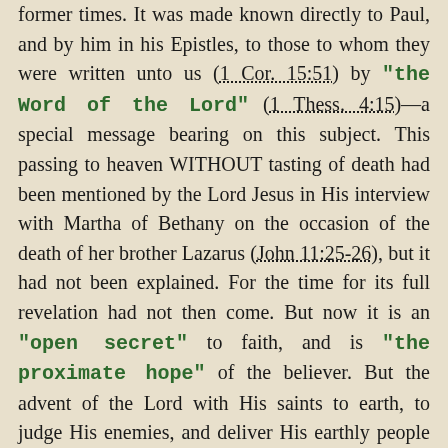former times. It was made known directly to Paul, and by him in his Epistles, to those to whom they were written unto us (1 Cor. 15:51) by "the Word of the Lord" (1 Thess. 4:15)—a special message bearing on this subject. This passing to heaven WITHOUT tasting of death had been mentioned by the Lord Jesus in His interview with Martha of Bethany on the occasion of the death of her brother Lazarus (John 11:25-26), but it had not been explained. For the time for its full revelation had not then come. But now it is an "open secret" to faith, and is "the proximate hope" of the believer. But the advent of the Lord with His saints to earth, to judge His enemies, and deliver His earthly people who will then be in the throes of "the great tribulation"—"the time of Jacob's trouble" (Jer. 30:7) will be an event which will compel the attention of the world, and bring to their knees the most indifferent and unexercised of mankind. For it will be the first open intervention of the earth-rejected Christ